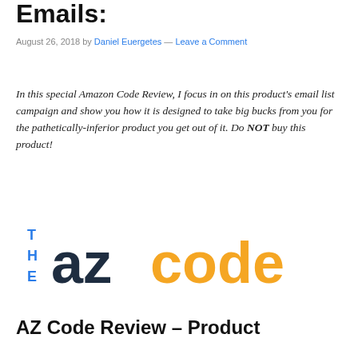Emails:
August 26, 2018 by Daniel Euergetes — Leave a Comment
In this special Amazon Code Review, I focus in on this product's email list campaign and show you how it is designed to take big bucks from you for the pathetically-inferior product you get out of it. Do NOT buy this product!
[Figure (logo): The AZ Code logo: 'THE' in blue stacked vertically on left, 'az' in dark navy bold, 'code' in orange bold]
AZ Code Review – Product